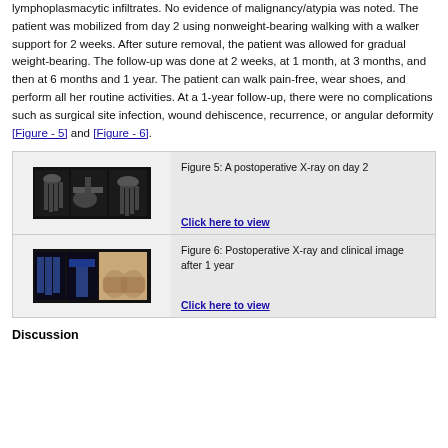lymphoplasmacytic infiltrates. No evidence of malignancy/atypia was noted. The patient was mobilized from day 2 using nonweight-bearing walking with a walker support for 2 weeks. After suture removal, the patient was allowed for gradual weight-bearing. The follow-up was done at 2 weeks, at 1 month, at 3 months, and then at 6 months and 1 year. The patient can walk pain-free, wear shoes, and perform all her routine activities. At a 1-year follow-up, there were no complications such as surgical site infection, wound dehiscence, recurrence, or angular deformity [Figure - 5] and [Figure - 6].
[Figure (photo): Figure 5: A postoperative X-ray on day 2 - showing multiple foot X-ray views]
Figure 5: A postoperative X-ray on day 2
[Figure (photo): Figure 6: Postoperative X-ray and clinical image after 1 year - showing multiple foot X-ray and clinical images]
Figure 6: Postoperative X-ray and clinical image after 1 year
Discussion